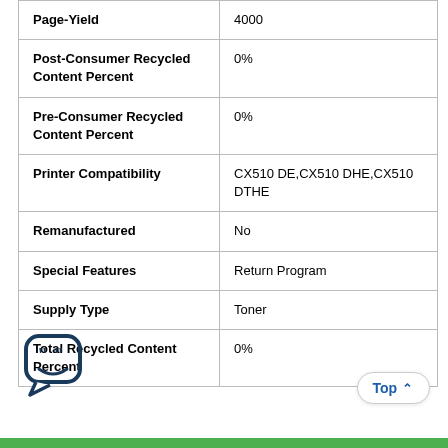| Attribute | Value |
| --- | --- |
| Page-Yield | 4000 |
| Post-Consumer Recycled Content Percent | 0% |
| Pre-Consumer Recycled Content Percent | 0% |
| Printer Compatibility | CX510 DE,CX510 DHE,CX510 DTHE |
| Remanufactured | No |
| Special Features | Return Program |
| Supply Type | Toner |
| Total Recycled Content Percent | 0% |
[Figure (illustration): Chat/feedback icon — speech bubble with quotation marks and a smiley face]